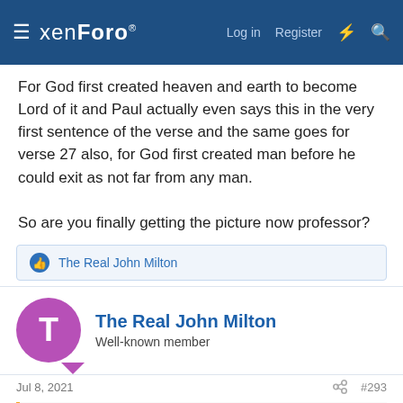xenForo — Log in  Register
For God first created heaven and earth to become Lord of it and Paul actually even says this in the very first sentence of the verse and the same goes for verse 27 also, for God first created man before he could exit as not far from any man.

So are you finally getting the picture now professor?
The Real John Milton
The Real John Milton
Well-known member
Jul 8, 2021  #293
civic said:
Newsflash- when that poster agrees with you its a guarantee your position is wrong and its actually just the opposite of what your claimed in your post. 🙂